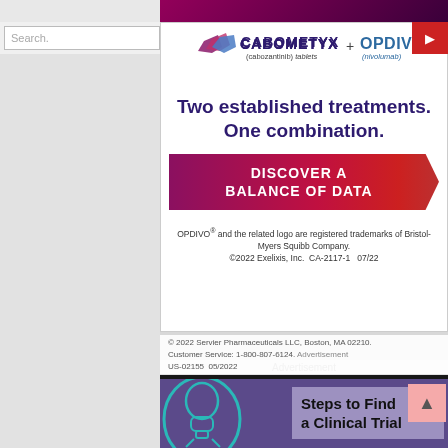[Figure (illustration): Website screenshot showing a search bar at top and two pharmaceutical advertisements. First ad features CABOMETYX + OPDIVO logos with headline 'Two established treatments. One combination.' and a red banner 'DISCOVER A BALANCE OF DATA'. Second ad shows a purple background with a teal circle illustration and 'Steps to Find a Clinical Trial' text box.]
OPDIVO® and the related logo are registered trademarks of Bristol-Myers Squibb Company. ©2022 Exelixis, Inc. CA-2117-1 07/22
© 2022 Servier Pharmaceuticals LLC, Boston, MA 02210. Customer Service: 1-800-807-6124. US-02155 05/2022
Advertisement
Steps to Find a Clinical Trial